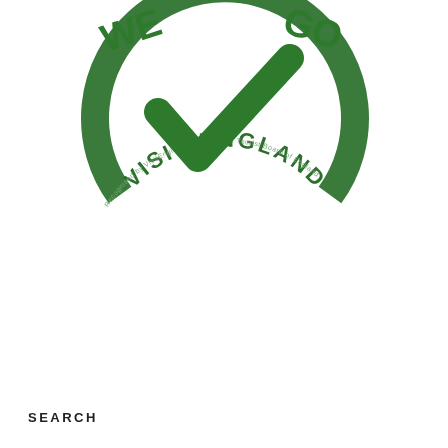[Figure (logo): Visit England 'We're Good To Go' logo: green circular badge with large green checkmark, text 'VISIT ENGLAND' arched below, and smaller text 'Recognised by VisitEngland, the National Tourist Board of England' around the bottom arc. Also has 'WE' and 'GO' text at the top sides.]
[Figure (infographic): Tripadvisor widget box with blue border containing: 'Shoreditch Street Art Tours' as underlined bold title, 5 green filled circles, '2,226 reviews' text, and Tripadvisor owl logo with 'Tripadvisor' text.]
SEARCH